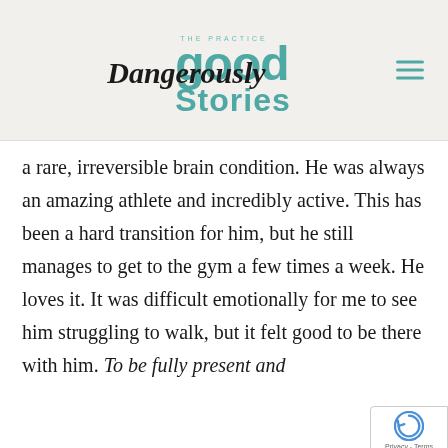[Figure (logo): Dangerously Good Stories podcast/blog logo with teal 'good' and 'stories' text and cursive 'Dangerously' script, plus 'THE PRACTICE' arc text above]
a rare, irreversible brain condition. He was always an amazing athlete and incredibly active. This has been a hard transition for him, but he still manages to get to the gym a few times a week. He loves it. It was difficult emotionally for me to see him struggling to walk, but it felt good to be there with him. To be fully present and